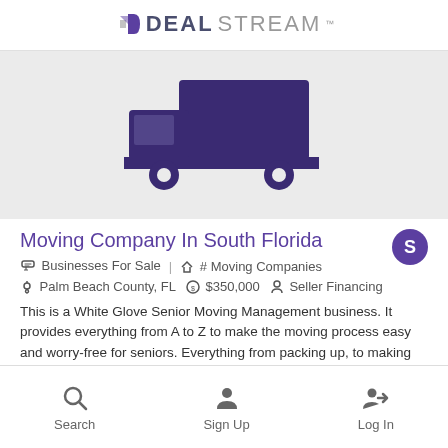DEALSTREAM
[Figure (illustration): Dark purple/navy delivery truck icon on light gray background]
Moving Company In South Florida
Businesses For Sale  #  Moving Companies  Palm Beach County, FL  $350,000  Seller Financing
This is a White Glove Senior Moving Management business. It provides everything from A to Z to make the moving process easy and worry-free for seniors. Everything from packing up, to making beds at the new location. So far this year has surpassed last year's numbers. Please refer to listing number 0101518156...
Search  Sign Up  Log In